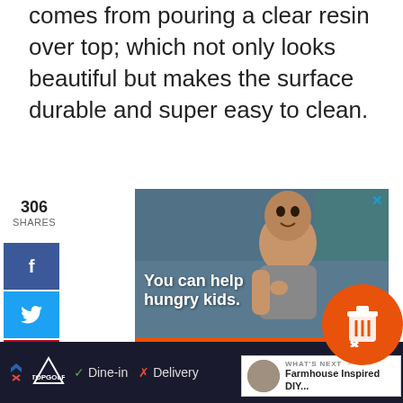comes from pouring a clear resin over top; which not only looks beautiful but makes the surface durable and super easy to clean.
306 SHARES
[Figure (screenshot): Advertisement image showing a child eating, with text 'You can help hungry kids.' and orange bar with 'LEARN HOW' button and No Kid Hungry logo]
WHAT'S NEXT → Farmhouse Inspired DIY...
[Figure (screenshot): Bottom navigation bar showing TopGolf ad with Dine-in and Delivery options and map/navigation icon]